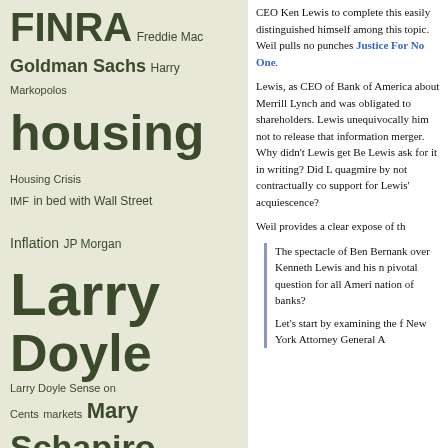[Figure (other): Tag cloud with financial and regulatory terms including FINRA, Freddie Mac, Goldman Sachs, Harry Markopolos, housing, Housing Crisis, IMF, in bed with Wall Street, Inflation, JP Morgan, Larry Doyle, Larry Doyle Sense on Cents, markets, Mary Schapiro, No Quarter Radio, Obama Administration, POGO, project on Government Oversight, quantitative easing, regulatory capture, SEC, Sense on Cents, Sense on Cents Hall of Fame, Sheila Bair, Tim Geithner, Unemployment, Wall Street, Wall Street-Washington incest, Wall Street regulation]
CEO Ken Lewis to complete this easily distinguished himself among this topic. Weil pulls no punches Justice For No One.
Lewis, as CEO of Bank of America about Merrill Lynch and was obligated to shareholders. Lewis unequivocally him not to release that information merger. Why didn't Lewis get Ben Lewis ask for it in writing? Did Lewis quagmire by not contractually confirming support for Lewis' acquiescence?
Weil provides a clear expose of the
The spectacle of Ben Bernanke over Kenneth Lewis and his pivotal question for all Americans nation of banks?
Let's start by examining the facts New York Attorney General A